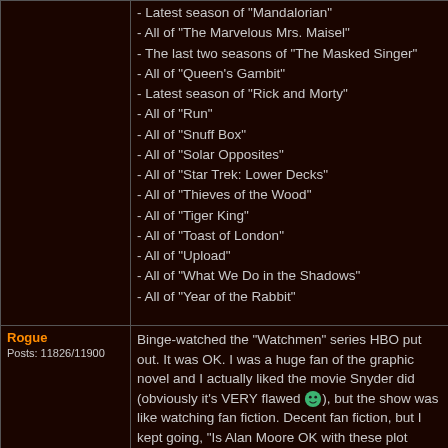| User | Content |
| --- | --- |
|  | - Latest season of "Mandalorian"
- All of "The Marvelous Mrs. Maisel"
- The last two seasons of "The Masked Singer"
- All of "Queen's Gambit"
- Latest season of "Rick and Morty"
- All of "Run"
- All of "Snuff Box"
- All of "Solar Opposites"
- All of "Star Trek: Lower Decks"
- All of "Thieves of the Wood"
- All of "Tiger King"
- All of "Toast of London"
- All of "Upload"
- All of "What We Do in the Shadows"
- All of "Year of the Rabbit" |
| Rogue
Posts: 11826/11900 | Binge-watched the "Watchmen" series HBO put out. It was OK. I was a huge fan of the graphic novel and I actually liked the movie Snyder did (obviously it's VERY flawed 🙂), but the show was like watching fan fiction. Decent fan fiction, but I kept going, "Is Alan Moore OK with these plot points? Eh, most likely not." |
| Rogue
Posts: 11825/11900 | Yep, watched "The Witcher" as well a couple weeks back. I liked it, and bummer about the long wait. Par for the course these days, what with "Rick and Morty" only pumping out new seasons a couple years between. |